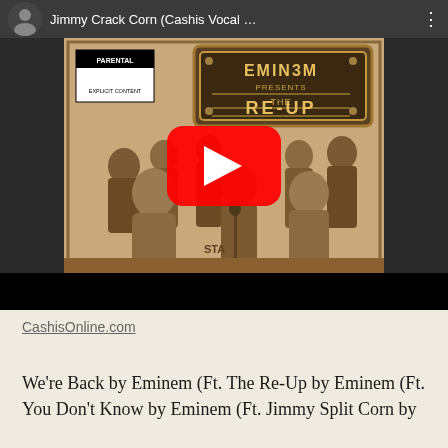[Figure (screenshot): YouTube video embed showing 'Jimmy Crack Corn (Cashis Vocal ...' with Eminem Presents The Re-Up album cover as thumbnail. Red YouTube play button overlay in center. Dark gray top bar with avatar, title text, and three-dot menu. Black bottom bar.]
CashisOnline.com
We’re Back by Eminem (Ft. The Re-Up by Eminem (Ft. You Don’t Know by Eminem (Ft. Jimmy Split Corn by